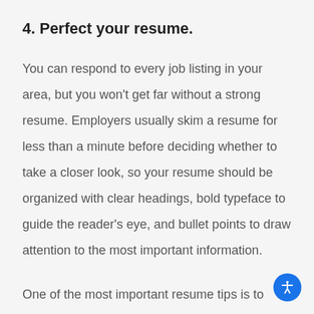4. Perfect your resume.
You can respond to every job listing in your area, but you won't get far without a strong resume. Employers usually skim a resume for less than a minute before deciding whether to take a closer look, so your resume should be organized with clear headings, bold typeface to guide the reader's eye, and bullet points to draw attention to the most important information.
One of the most important resume tips is to